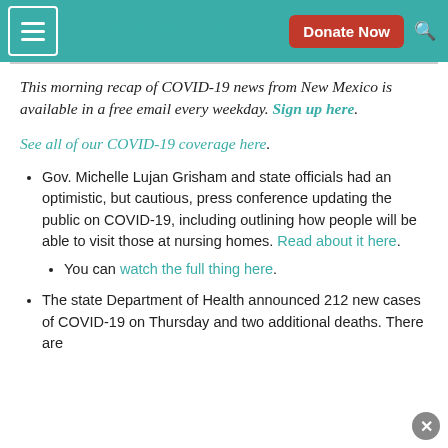The NM Political Report | Donate Now
This morning recap of COVID-19 news from New Mexico is available in a free email every weekday. Sign up here.
See all of our COVID-19 coverage here.
Gov. Michelle Lujan Grisham and state officials had an optimistic, but cautious, press conference updating the public on COVID-19, including outlining how people will be able to visit those at nursing homes. Read about it here.
You can watch the full thing here.
The state Department of Health announced 212 new cases of COVID-19 on Thursday and two additional deaths. There are